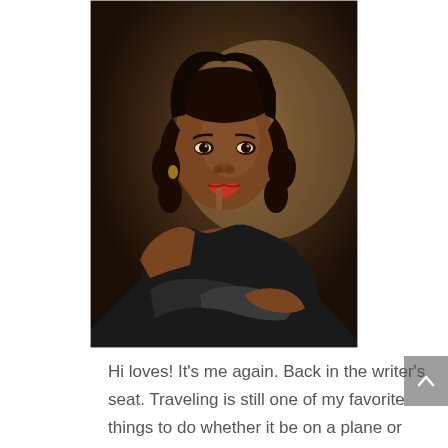[Figure (photo): Portrait photograph of a woman with curly dark hair, wearing an off-shoulder black top, smiling with red lips and resting her chin on her hand. Dark warm background with soft spotlight lighting.]
Hi loves! It's me again. Back in the writer's seat. Traveling is still one of my favorite things to do whether it be on a plane or short drive in a car. Life is too short not to take time out to enjoy it. My family and friends mean the world